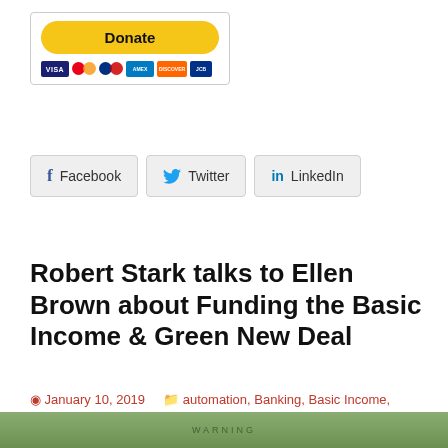[Figure (other): PayPal Donate button with payment card logos (Visa, Mastercard, Maestro, American Express, Discover, JCB)]
[Figure (infographic): Social share buttons for Facebook, Twitter, and LinkedIn]
Robert Stark talks to Ellen Brown about Funding the Basic Income & Green New Deal
January 10, 2019   automation, Banking, Basic Income, capitalism, Donald Trump, Economics, Ellen Brown, Environment, Federal Reserve, Global Warming, Healthcare, income inequality, Wall Street, Wealth
[Figure (photo): Partial image at bottom of page showing green background with text 'WARNING']